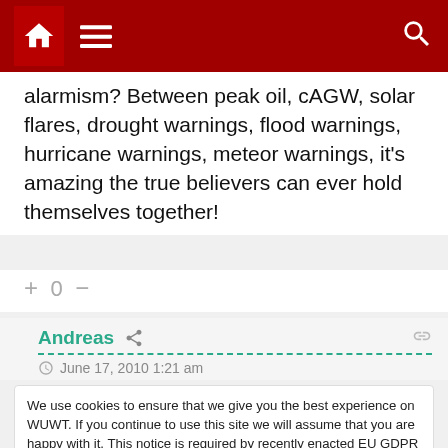Navigation bar with home, menu, and search icons
alarmism? Between peak oil, cAGW, solar flares, drought warnings, flood warnings, hurricane warnings, meteor warnings, it's amazing the true believers can ever hold themselves together!
+ 0 −
Andreas
June 17, 2010 1:21 am
We use cookies to ensure that we give you the best experience on WUWT. If you continue to use this site we will assume that you are happy with it. This notice is required by recently enacted EU GDPR rules, and since WUWT is a globally read website, we need to keep the bureaucrats off our case! Cookie Policy
Close and accept